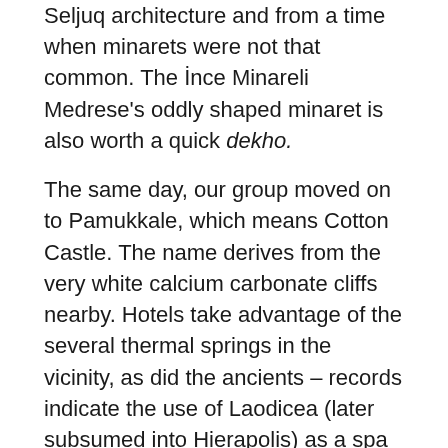Seljuq architecture and from a time when minarets were not that common. The İnce Minareli Medrese's oddly shaped minaret is also worth a quick dekho.
The same day, our group moved on to Pamukkale, which means Cotton Castle. The name derives from the very white calcium carbonate cliffs nearby. Hotels take advantage of the several thermal springs in the vicinity, as did the ancients – records indicate the use of Laodicea (later subsumed into Hierapolis) as a spa as far back as the third century BCE by the Phrygians. Hierapolis proper, however, was established by the Seleucids and attained its golden age under the Romans who rebuilt it after a severe earthquake in 60 CE. Its health spas attracted many from all over the Roman Empire, and it is rumoured that even Cleopatra may have visited its pools. The city was finally abandoned in the 1300s after one too many